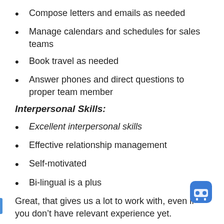Compose letters and emails as needed
Manage calendars and schedules for sales teams
Book travel as needed
Answer phones and direct questions to proper team member
Interpersonal Skills:
Excellent interpersonal skills
Effective relationship management
Self-motivated
Bi-lingual is a plus
Great, that gives us a lot to work with, even if you don’t have relevant experience yet.
How to target your resume: An example